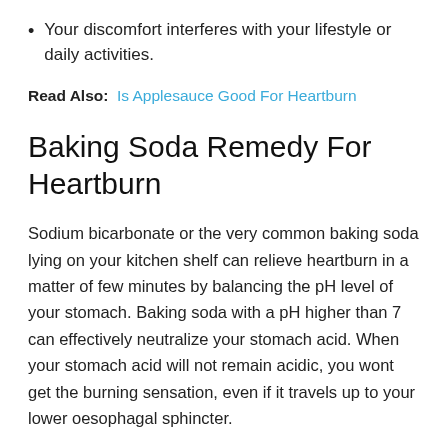Your discomfort interferes with your lifestyle or daily activities.
Read Also:  Is Applesauce Good For Heartburn
Baking Soda Remedy For Heartburn
Sodium bicarbonate or the very common baking soda lying on your kitchen shelf can relieve heartburn in a matter of few minutes by balancing the pH level of your stomach. Baking soda with a pH higher than 7 can effectively neutralize your stomach acid. When your stomach acid will not remain acidic, you wont get the burning sensation, even if it travels up to your lower oesophagal sphincter.